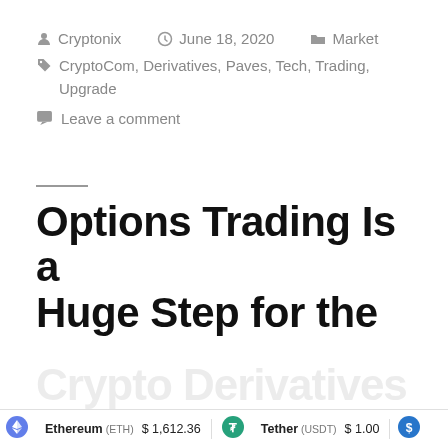Posted by Cryptonix  |  June 18, 2020  |  Market
Tags: CryptoCom, Derivatives, Paves, Tech, Trading, Upgrade
Leave a comment
Options Trading Is a Huge Step for the Crypto Derivatives
Ethereum (ETH) $1,612.36  |  Tether (USDT) $1.00